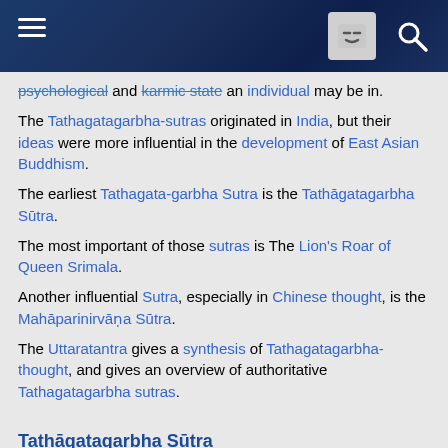Wikipedia mobile header with hamburger menu, face icon, and search icon
psychological and karmic state an individual may be in.
The Tathagatagarbha-sutras originated in India, but their ideas were more influential in the development of East Asian Buddhism.
The earliest Tathagata-garbha Sutra is the Tathāgatagarbha Sūtra.
The most important of those sutras is The Lion's Roar of Queen Srimala.
Another influential Sutra, especially in Chinese thought, is the Mahāparinirvāṇa Sūtra.
The Uttaratantra gives a synthesis of Tathagatagarbha-thought, and gives an overview of authoritative Tathagatagarbha sutras.
Tathāgatagarbha Sūtra
The Tathāgatagarbha Sūtra (200-250 CE) is considered...
... the earliest expression of this [the tathāgatagarbha doctrine) and the term tathāgatagarbha itself seems to have been coined in this very sutra."